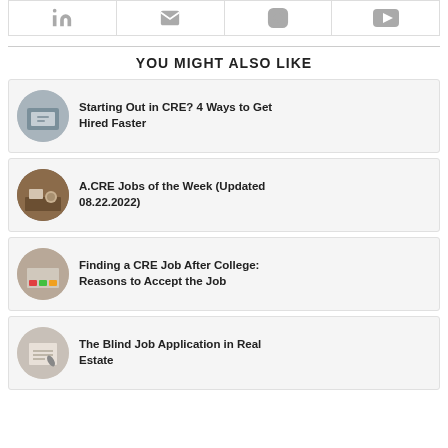[Figure (other): Social media icons row: LinkedIn, Email, Instagram, YouTube]
YOU MIGHT ALSO LIKE
[Figure (other): Card with circular thumbnail image of hands on a tablet/calculator]
Starting Out in CRE? 4 Ways to Get Hired Faster
[Figure (other): Card with circular thumbnail image of desk with coffee and papers]
A.CRE Jobs of the Week (Updated 08.22.2022)
[Figure (other): Card with circular thumbnail image of colorful sticky notes on a desk]
Finding a CRE Job After College: Reasons to Accept the Job
[Figure (other): Card with circular thumbnail image of person writing on paper]
The Blind Job Application in Real Estate